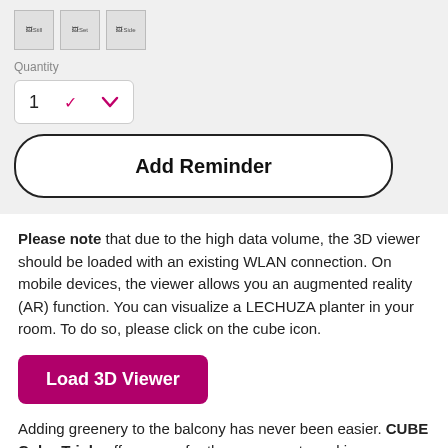[Figure (screenshot): Three small icon/thumbnail images in a row with labels: 'Still', 'Set', 'Side']
Quantity
[Figure (screenshot): Quantity dropdown selector showing '1' with a pink/magenta chevron arrow]
[Figure (screenshot): Add Reminder button with rounded border]
Please note that due to the high data volume, the 3D viewer should be loaded with an existing WLAN connection. On mobile devices, the viewer allows you an augmented reality (AR) function. You can visualize a LECHUZA planter in your room. To do so, please click on the cube icon.
[Figure (screenshot): Load 3D Viewer button in magenta/pink]
Adding greenery to the balcony has never been easier. CUBE Color Triple offers room for three grow pots and is